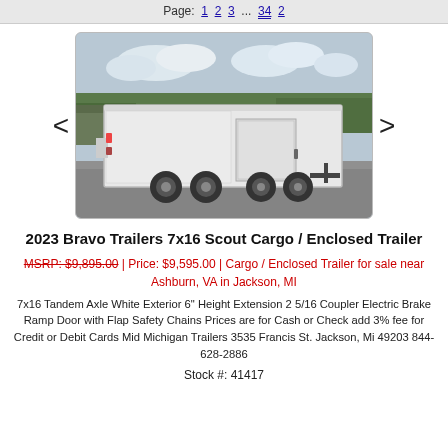Page: 1 2 3 ... 34 2
[Figure (photo): White enclosed cargo trailer (2023 Bravo Trailers 7x16 Scout) with tandem axles, rear ramp door, parked on a paved lot with trees in background.]
2023 Bravo Trailers 7x16 Scout Cargo / Enclosed Trailer
MSRP: $9,895.00 | Price: $9,595.00 | Cargo / Enclosed Trailer for sale near Ashburn, VA in Jackson, MI
7x16 Tandem Axle White Exterior 6" Height Extension 2 5/16 Coupler Electric Brake Ramp Door with Flap Safety Chains Prices are for Cash or Check add 3% fee for Credit or Debit Cards Mid Michigan Trailers 3535 Francis St. Jackson, Mi 49203 844-628-2886
Stock #: 41417